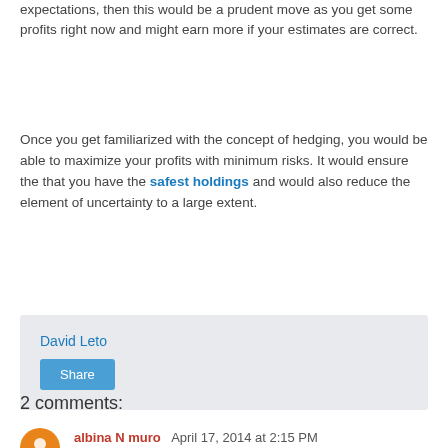expectations, then this would be a prudent move as you get some profits right now and might earn more if your estimates are correct.
Once you get familiarized with the concept of hedging, you would be able to maximize your profits with minimum risks. It would ensure the that you have the safest holdings and would also reduce the element of uncertainty to a large extent.
David Leto
Share
2 comments:
albina N muro  April 17, 2014 at 2:15 PM
Binary Options listed on Nadex. Easy to understand